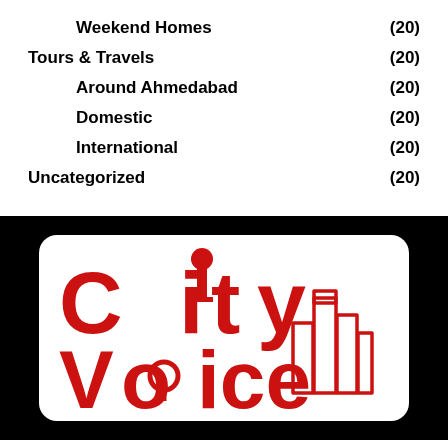Weekend Homes (20)
Tours & Travels (20)
Around Ahmedabad (20)
Domestic (20)
International (20)
Uncategorized (20)
[Figure (logo): City Voice logo in red on white rounded card, with microphone in letter 'i' and building silhouette on right, on black background]